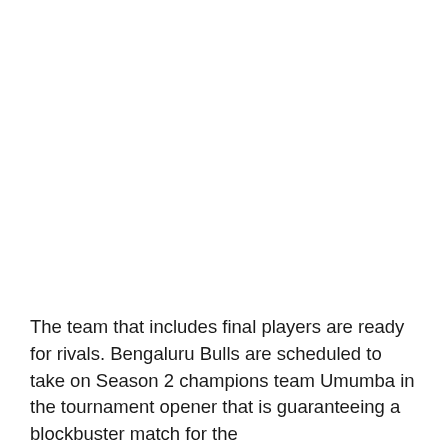The team that includes final players are ready for rivals. Bengaluru Bulls are scheduled to take on Season 2 champions team Umumba in the tournament opener that is guaranteeing a blockbuster match for the